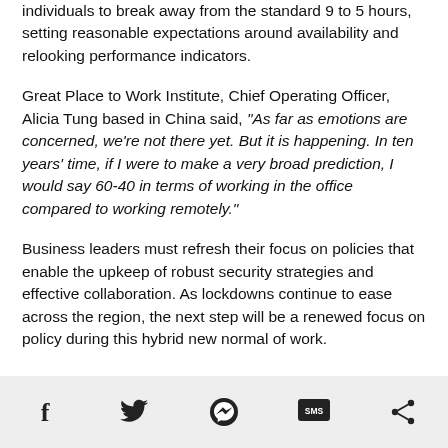individuals to break away from the standard 9 to 5 hours, setting reasonable expectations around availability and relooking performance indicators.
Great Place to Work Institute, Chief Operating Officer, Alicia Tung based in China said, "As far as emotions are concerned, we're not there yet. But it is happening. In ten years' time, if I were to make a very broad prediction, I would say 60-40 in terms of working in the office compared to working remotely."
Business leaders must refresh their focus on policies that enable the upkeep of robust security strategies and effective collaboration. As lockdowns continue to ease across the region, the next step will be a renewed focus on policy during this hybrid new normal of work.
Social share icons: Facebook, Twitter, Messenger, SMS, Share